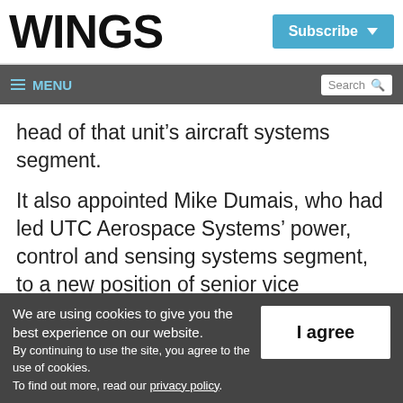WINGS
head of that unit’s aircraft systems segment.
It also appointed Mike Dumais, who had led UTC Aerospace Systems’ power, control and sensing systems segment, to a new position of senior vice president of strategic planning.
We are using cookies to give you the best experience on our website.
By continuing to use the site, you agree to the use of cookies.
To find out more, read our privacy policy.